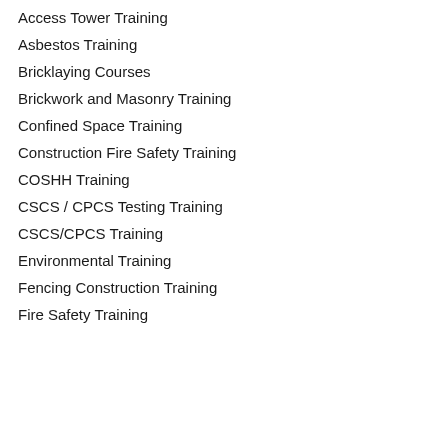Access Tower Training
Asbestos Training
Bricklaying Courses
Brickwork and Masonry Training
Confined Space Training
Construction Fire Safety Training
COSHH Training
CSCS / CPCS Testing Training
CSCS/CPCS Training
Environmental Training
Fencing Construction Training
Fire Safety Training